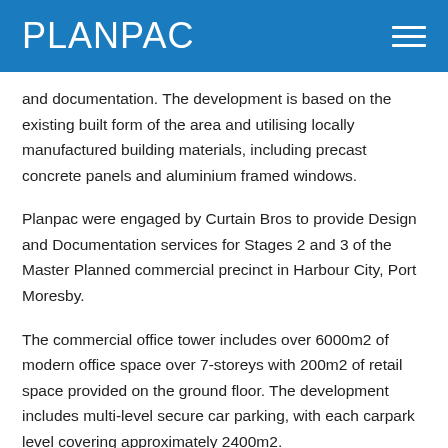PLANPAC
and documentation. The development is based on the existing built form of the area and utilising locally manufactured building materials, including precast concrete panels and aluminium framed windows.
Planpac were engaged by Curtain Bros to provide Design and Documentation services for Stages 2 and 3 of the Master Planned commercial precinct in Harbour City, Port Moresby.
The commercial office tower includes over 6000m2 of modern office space over 7-storeys with 200m2 of retail space provided on the ground floor. The development includes multi-level secure car parking, with each carpark level covering approximately 2400m2.